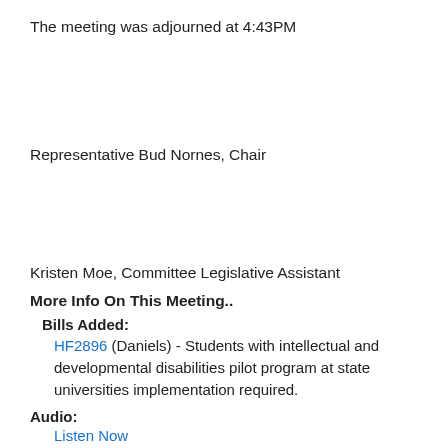The meeting was adjourned at 4:43PM
Representative Bud Nornes, Chair
Kristen Moe, Committee Legislative Assistant
More Info On This Meeting..
Bills Added:
HF2896 (Daniels) - Students with intellectual and developmental disabilities pilot program at state universities implementation required.
Audio:
Listen Now